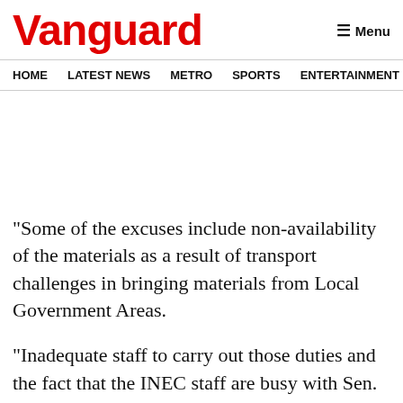Vanguard
HOME  LATEST NEWS  METRO  SPORTS  ENTERTAINMENT  VIDEOS
“Some of the excuses include non-availability of the materials as a result of transport challenges in bringing materials from Local Government Areas.
“Inadequate staff to carry out those duties and the fact that the INEC staff are busy with Sen. Godswill Akpabio in connection…